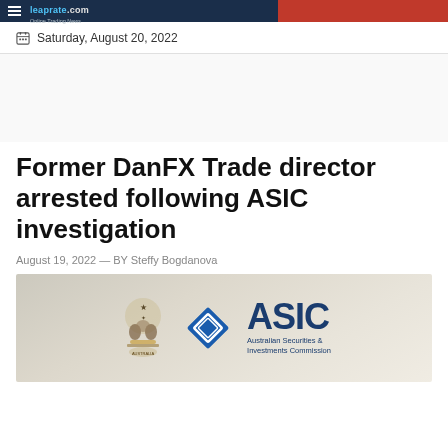leaprate.com Online Trading News
Saturday, August 20, 2022
Former DanFX Trade director arrested following ASIC investigation
August 19, 2022 — BY Steffy Bogdanova
[Figure (logo): ASIC - Australian Securities & Investments Commission logo with Australian coat of arms]